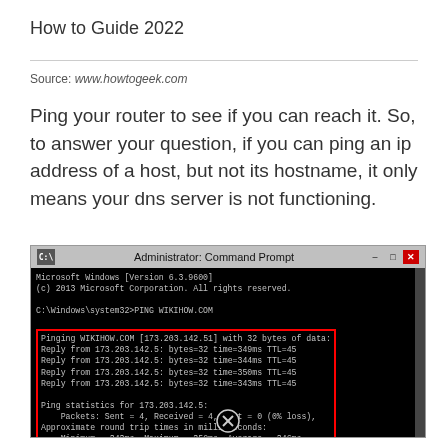How to Guide 2022
Source: www.howtogeek.com
Ping your router to see if you can reach it. So, to answer your question, if you can ping an ip address of a host, but not its hostname, it only means your dns server is not functioning.
[Figure (screenshot): Windows Command Prompt showing PING WIKIHOW.COM output with ping statistics for 173.203.142.5, highlighted in a red box]